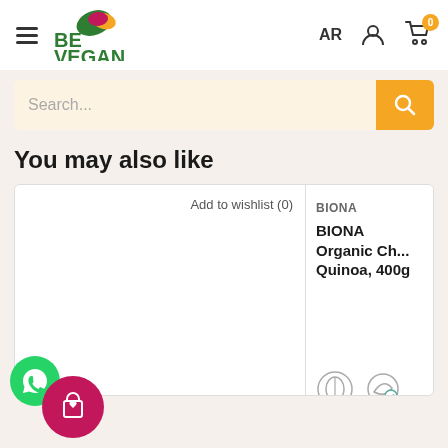BE VEGAN — AR — Cart (0)
Search...
You may also like
Add to wishlist (0)
BIONA
BIONA Organic Ch... Quinoa, 400g